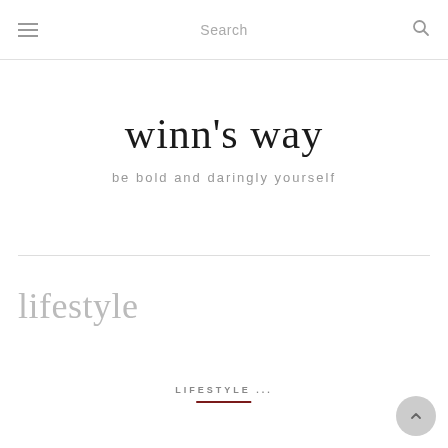☰  Search  🔍
winn's way
be bold and daringly yourself
lifestyle
LIFESTYLE ...